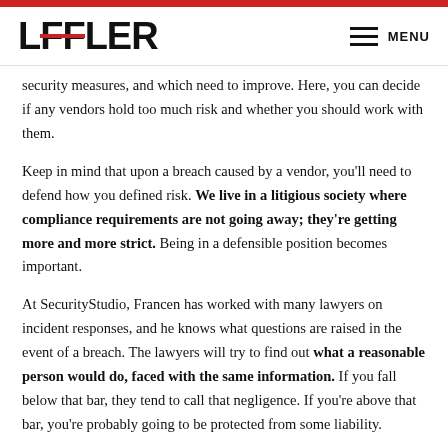LOFFLER | MENU
security measures, and which need to improve. Here, you can decide if any vendors hold too much risk and whether you should work with them.
Keep in mind that upon a breach caused by a vendor, you'll need to defend how you defined risk. We live in a litigious society where compliance requirements are not going away; they're getting more and more strict. Being in a defensible position becomes important.
At SecurityStudio, Francen has worked with many lawyers on incident responses, and he knows what questions are raised in the event of a breach. The lawyers will try to find out what a reasonable person would do, faced with the same information. If you fall below that bar, they tend to call that negligence. If you're above that bar, you're probably going to be protected from some liability.